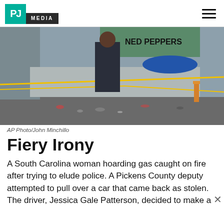PJ MEDIA
[Figure (photo): A police officer standing in front of yellow crime scene tape outside Ned Peppers bar, with scattered items on the ground visible behind the tape. Blue umbrella and outdoor seating visible in background.]
AP Photo/John Minchillo
Fiery Irony
A South Carolina woman hoarding gas caught on fire after trying to elude police. A Pickens County deputy attempted to pull over a car that came back as stolen. The driver, Jessica Gale Patterson, decided to make a